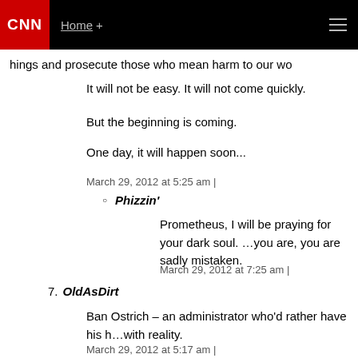CNN | Home + ☰
…hings and prosecute those who mean harm to our wo…
It will not be easy. It will not come quickly.
But the beginning is coming.
One day, it will happen soon...
March 29, 2012 at 5:25 am |
Phizzin'
Prometheus, I will be praying for your dark soul. …you are, you are sadly mistaken.
March 29, 2012 at 7:25 am |
7. OldAsDirt
Ban Ostrich – an administrator who'd rather have his h…with reality.
March 29, 2012 at 5:17 am |